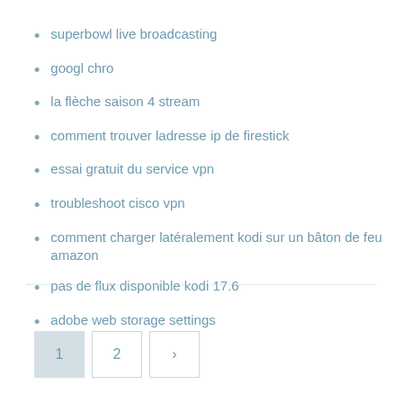superbowl live broadcasting
googl chro
la flèche saison 4 stream
comment trouver ladresse ip de firestick
essai gratuit du service vpn
troubleshoot cisco vpn
comment charger latéralement kodi sur un bâton de feu amazon
pas de flux disponible kodi 17.6
adobe web storage settings